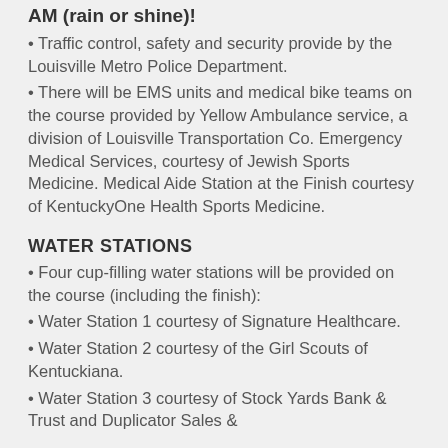AM (rain or shine)!
• Traffic control, safety and security provide by the Louisville Metro Police Department.
• There will be EMS units and medical bike teams on the course provided by Yellow Ambulance service, a division of Louisville Transportation Co. Emergency Medical Services, courtesy of Jewish Sports Medicine. Medical Aide Station at the Finish courtesy of KentuckyOne Health Sports Medicine.
WATER STATIONS
• Four cup-filling water stations will be provided on the course (including the finish):
• Water Station 1 courtesy of Signature Healthcare.
• Water Station 2 courtesy of the Girl Scouts of Kentuckiana.
• Water Station 3 courtesy of Stock Yards Bank & Trust and Duplicator Sales &